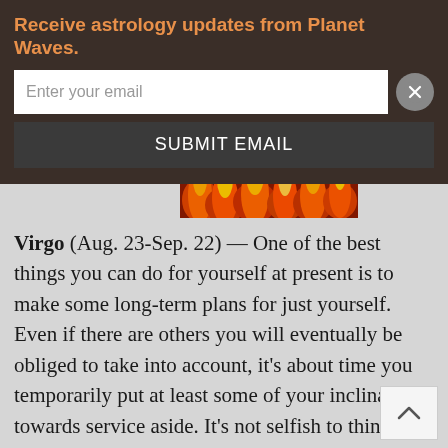Receive astrology updates from Planet Waves.
Enter your email
SUBMIT EMAIL
[Figure (photo): Fire/flames image banner]
Virgo (Aug. 23-Sep. 22) — One of the best things you can do for yourself at present is to make some long-term plans for just yourself. Even if there are others you will eventually be obliged to take into account, it's about time you temporarily put at least some of your inclination towards service aside. It's not selfish to think of your own desires upon occasion, and doing so now will help you stay in touch with all those special needs you have that only you can be expected to meet. Even if some of your long-range plans do not pan out